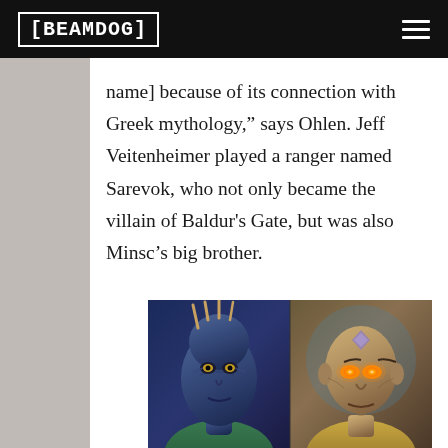[BEAMDOG]
name] because of its connection with Greek mythology,” says Ohlen. Jeff Veitenheimer played a ranger named Sarevok, who not only became the villain of Baldur's Gate, but was also Minsc’s big brother.
[Figure (illustration): Two character portrait illustrations side by side: left shows a blue-skinned alien/creature character with spikes on head, right shows a bald human male character with glowing orange eyes and tattoos on forehead, wearing golden armor]